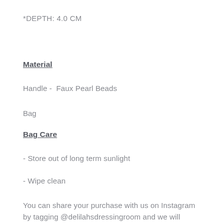*DEPTH: 4.0 CM
Material
Handle -  Faux Pearl Beads
Bag
Bag Care
- Store out of long term sunlight
- Wipe clean
You can share your purchase with us on Instagram by tagging @delilahsdressingroom and we will feature